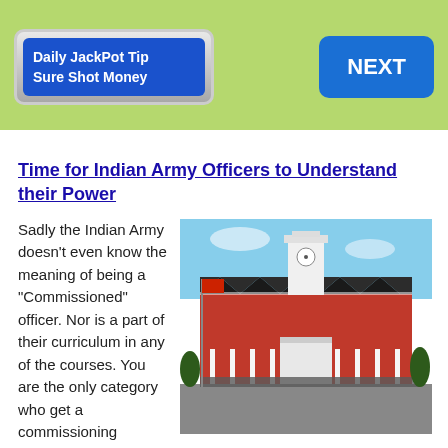[Figure (other): Advertisement banner with 'Daily JackPot Tip Sure Shot Money' button and a 'NEXT' button on a green background]
Time for Indian Army Officers to Understand their Power
Sadly the Indian Army doesn't even know the meaning of being a "Commissioned" officer. Nor is a part of their curriculum in any of the courses. You are the only category who get a commissioning parchment stamped in the
[Figure (photo): Photo of an Indian Army military academy building with a white clock tower, red walls, and soldiers assembled on the parade ground in front of a flag]